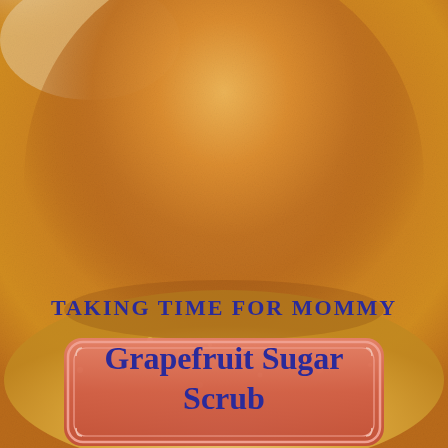[Figure (photo): Close-up photo of golden-orange sugar scrub mound with granulated sugar crystals against a light background]
Taking Time for Mommy
Grapefruit Sugar Scrub